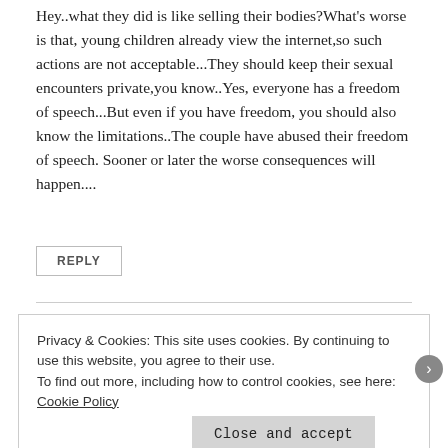Hey..what they did is like selling their bodies?What's worse is that, young children already view the internet,so such actions are not acceptable...They should keep their sexual encounters private,you know..Yes, everyone has a freedom of speech...But even if you have freedom, you should also know the limitations..The couple have abused their freedom of speech. Sooner or later the worse consequences will happen....
REPLY
Privacy & Cookies: This site uses cookies. By continuing to use this website, you agree to their use.
To find out more, including how to control cookies, see here: Cookie Policy
Close and accept